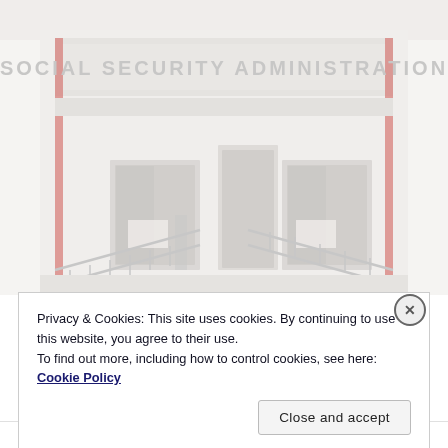[Figure (photo): Exterior photograph of a Social Security Administration office building. The building facade shows the text 'SOCIAL SECURITY ADMINISTRATION' on a sign above the entrance. The entrance has double glass doors with metal railings/ramps on both sides. The image is washed out/overexposed giving it a very light, faded appearance.]
Privacy & Cookies: This site uses cookies. By continuing to use this website, you agree to their use.
To find out more, including how to control cookies, see here: Cookie Policy